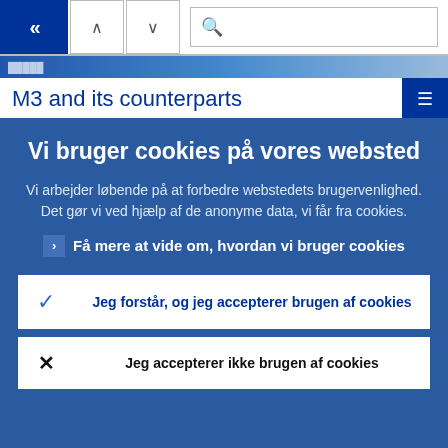« ∧ ∨  🔍
M3 and its counterparts
(12 month accumulated flows in EUR billions; seasonally
Vi bruger cookies på vores websted
Vi arbejder løbende på at forbedre webstedets brugervenlighed. Det gør vi ved hjælp af de anonyme data, vi får fra cookies.
› Få mere at vide om, hvordan vi bruger cookies
✓  Jeg forstår, og jeg accepterer brugen af cookies
✕  Jeg accepterer ikke brugen af cookies